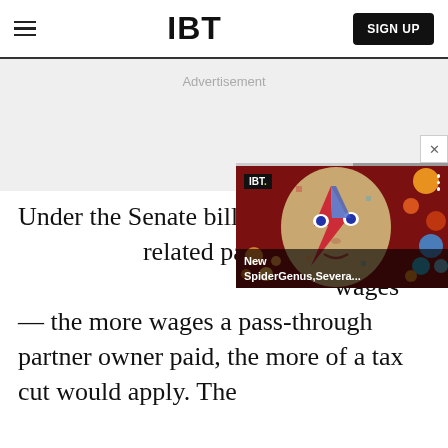IBT  SIGN UP
Advertisement
Under the Senate bill, the ta related pass-throughs were wages — the more wages a pass-through partner owner paid, the more of a tax cut would apply. The
[Figure (screenshot): IBT video widget overlay showing a colorful illustrated face (Bowie-style) with the caption 'New SpiderGenus,Severa...' with IBT logo badge and close button]